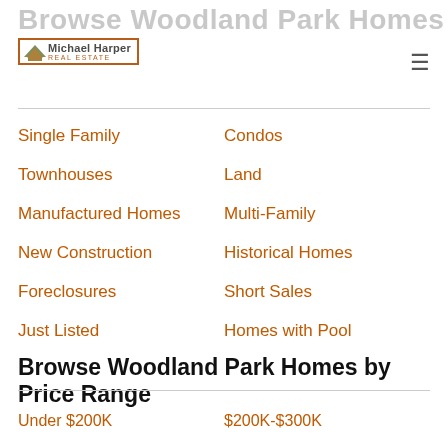Browse Woodland Park Homes by Property Type
[Figure (logo): Michael Harper Real Estate logo]
Single Family
Condos
Townhouses
Land
Manufactured Homes
Multi-Family
New Construction
Historical Homes
Foreclosures
Short Sales
Just Listed
Homes with Pool
Browse Woodland Park Homes by Price Range
Under $200K
$200K-$300K